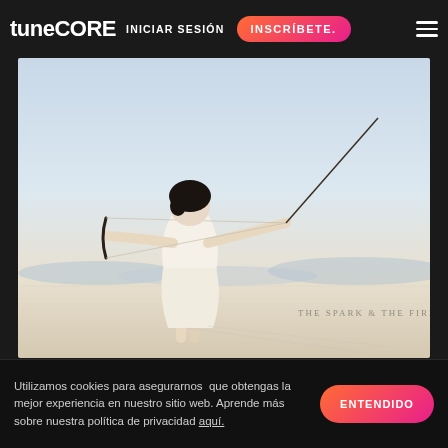tuneCORE | INICIAR SESIÓN | INSCRÍBETE.
[Figure (photo): Woman in white dress shooting a bow and arrow in a desert landscape. Text overlay reads 'THE SPARK & THE FIRE'.]
Martes de Nueva Música: 23 de julio de 2013
Utilizamos cookies para asegurarnos que obtengas la mejor experiencia en nuestro sitio web. Aprende más sobre nuestra política de privacidad aquí.